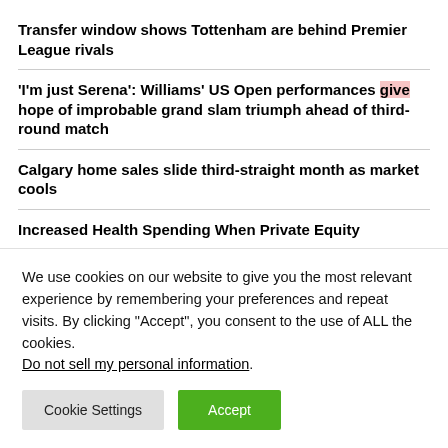Transfer window shows Tottenham are behind Premier League rivals
'I'm just Serena': Williams' US Open performances give hope of improbable grand slam triumph ahead of third-round match
Calgary home sales slide third-straight month as market cools
Increased Health Spending When Private Equity
We use cookies on our website to give you the most relevant experience by remembering your preferences and repeat visits. By clicking "Accept", you consent to the use of ALL the cookies. Do not sell my personal information.